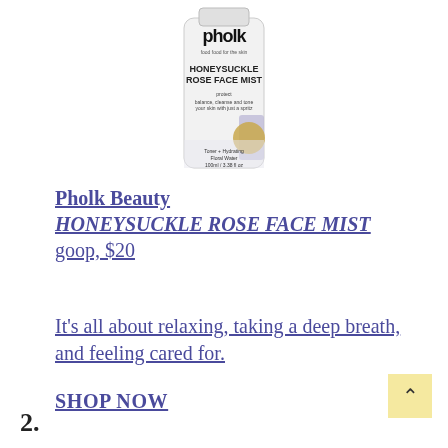[Figure (photo): Pholk Beauty Honeysuckle Rose Face Mist product bottle — white cylindrical bottle with black brand name 'pholk' at top, product name 'HONEYSUCKLE ROSE FACE MIST' in the middle, and a gold/beige circular accent near the bottom, with purple label background elements. Text reads 'Toner + Hydrating Floral Water 100ml / 3.38 fl oz'.]
Pholk Beauty HONEYSUCKLE ROSE FACE MIST goop, $20
It's all about relaxing, taking a deep breath, and feeling cared for.
SHOP NOW
2.